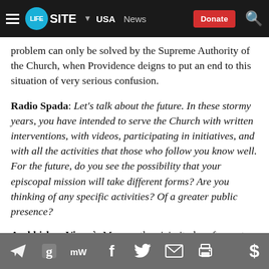LifeSite — USA | News | Donate
problem can only be solved by the Supreme Authority of the Church, when Providence deigns to put an end to this situation of very serious confusion.
Radio Spada: Let's talk about the future. In these stormy years, you have intended to serve the Church with written interventions, with videos, participating in initiatives, and with all the activities that those who follow you know well. For the future, do you see the possibility that your episcopal mission will take different forms? Are you thinking of any specific activities? Of a greater public presence?
Archbishop Viganò: My age, the vicissitudes of recent
[social share icons: Telegram, Goodreads, MeWe, Facebook, Twitter, Email, Print] [$]